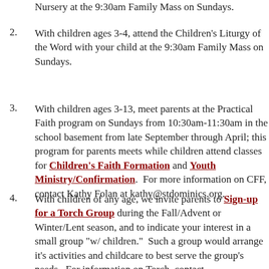(partial, top cut off) ...at the Nursery at the 9:30am Family Mass on Sundays.
2. With children ages 3-4, attend the Children's Liturgy of the Word with your child at the 9:30am Family Mass on Sundays.
3. With children ages 3-13, meet parents at the Practical Faith program on Sundays from 10:30am-11:30am in the school basement from late September through April; this program for parents meets while children attend classes for Children's Faith Formation and Youth Ministry/Confirmation. For more information on CFF, contact Kathy Folan at kathy@stdominics.org.
4. With children of any age, we invite parents to Sign-up for a Torch Group during the Fall/Advent or Winter/Lent season, and to indicate your interest in a small group "w/ children." Such a group would arrange it's activities and childcare to best serve the group's needs. For information on Torch, contact (cut off at bottom)